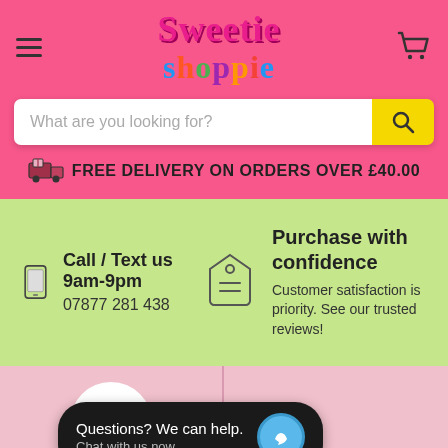[Figure (logo): Sweetie Shoppie logo with colorful text on pink background with hamburger menu and cart icon]
What are you looking for?
FREE DELIVERY ON ORDERS OVER £40.00
Call / Text us 9am-9pm
07877 281 438
Purchase with confidence
Customer satisfaction is priority. See our trusted reviews!
[Figure (illustration): Gift box icon in a white circle on pink background]
Questions? We can help.
Chat with us now.